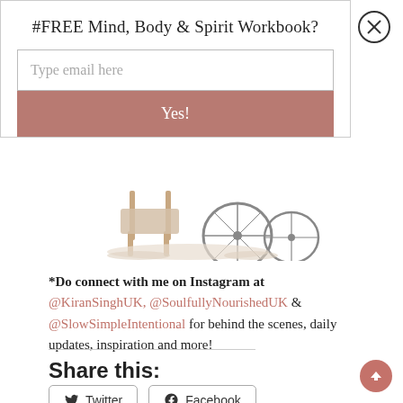#FREE Mind, Body & Spirit Workbook?
Type email here
Yes!
[Figure (illustration): Illustration of chairs and a bicycle wheel on a rug]
*Do connect with me on Instagram at @KiranSinghUK, @SoulfullyNourishedUK & @SlowSimpleIntentional for behind the scenes, daily updates, inspiration and more!
Share this:
Twitter  Facebook